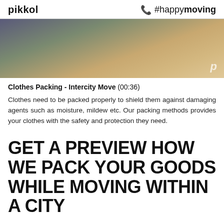pikkol   #happymoving
[Figure (photo): Photo of cardboard boxes being packed, with a person's hands visible. A watermark 'p' logo appears in the bottom right corner.]
Clothes Packing - Intercity Move (00:36)
Clothes need to be packed properly to shield them against damaging agents such as moisture, mildew etc. Our packing methods provides your clothes with the safety and protection they need.
GET A PREVIEW HOW WE PACK YOUR GOODS WHILE MOVING WITHIN A CITY